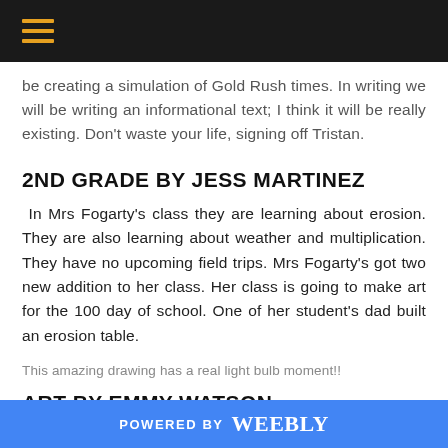[hamburger menu icon]
be creating a simulation of Gold Rush times. In writing we will be writing an informational text; I think it will be really existing. Don't waste your life, signing off Tristan.
2ND GRADE BY JESS MARTINEZ
In Mrs Fogarty's class they are learning about erosion. They are also learning about weather and multiplication. They have no upcoming field trips. Mrs Fogarty's got two new addition to her class. Her class is going to make art for the 100 day of school. One of her student's dad built an erosion table.
This amazing drawing has a real light bulb moment!!
ART BY EMMY WATSON
POWERED BY weebly